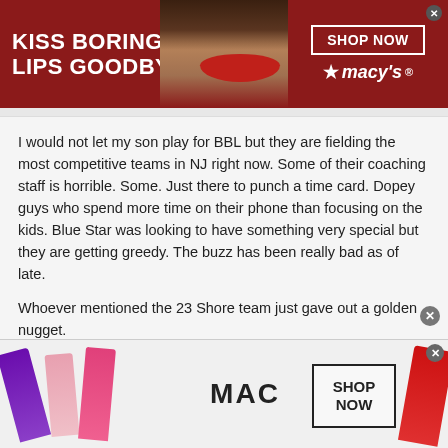[Figure (screenshot): Top banner advertisement for Macy's lipstick: 'KISS BORING LIPS GOODBYE' with woman's face and red lips, SHOP NOW button, Macy's star logo]
I would not let my son play for BBL but they are fielding the most competitive teams in NJ right now. Some of their coaching staff is horrible. Some. Just there to punch a time card. Dopey guys who spend more time on their phone than focusing on the kids. Blue Star was looking to have something very special but they are getting greedy. The buzz has been really bad as of late.
Whoever mentioned the 23 Shore team just gave out a golden nugget.
There's another team which is on my radar but I will keep it to myself. Sorry. Won't let this rabbit out of my hat.
[Figure (screenshot): Bottom banner advertisement for MAC cosmetics with colorful lipsticks, MAC logo, and SHOP NOW button]